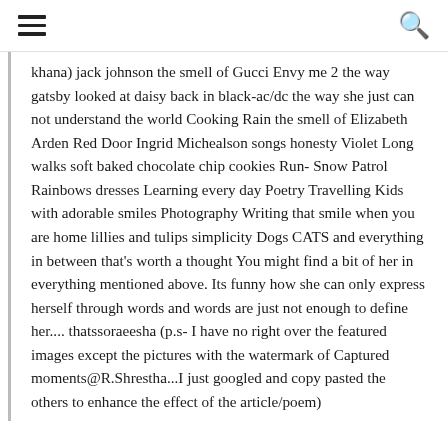[hamburger menu icon] [search icon]
khana) jack johnson the smell of Gucci Envy me 2 the way gatsby looked at daisy back in black-ac/dc the way she just can not understand the world Cooking Rain the smell of Elizabeth Arden Red Door Ingrid Michealson songs honesty Violet Long walks soft baked chocolate chip cookies Run- Snow Patrol Rainbows dresses Learning every day Poetry Travelling Kids with adorable smiles Photography Writing that smile when you are home lillies and tulips simplicity Dogs CATS and everything in between that's worth a thought You might find a bit of her in everything mentioned above. Its funny how she can only express herself through words and words are just not enough to define her.... thatssoraeesha (p.s- I have no right over the featured images except the pictures with the watermark of Captured moments@R.Shrestha...I just googled and copy pasted the others to enhance the effect of the article/poem)